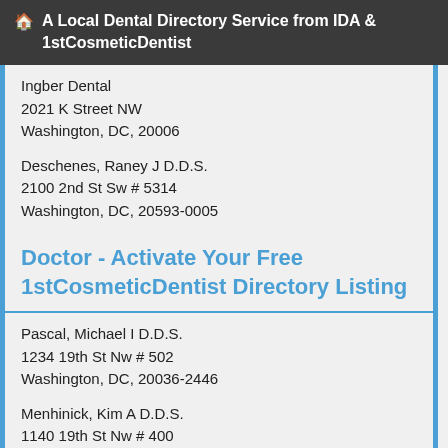A Local Dental Directory Service from IDA & 1stCosmeticDentist
Ingber Dental
2021 K Street NW
Washington, DC, 20006
Deschenes, Raney J D.D.S.
2100 2nd St Sw # 5314
Washington, DC, 20593-0005
Doctor - Activate Your Free 1stCosmeticDentist Directory Listing
Pascal, Michael I D.D.S.
1234 19th St Nw # 502
Washington, DC, 20036-2446
Menhinick, Kim A D.D.S.
1140 19th St Nw # 400
Washington, DC, 20036-6610
Cosmetic Dentistry: A Smile Makeover